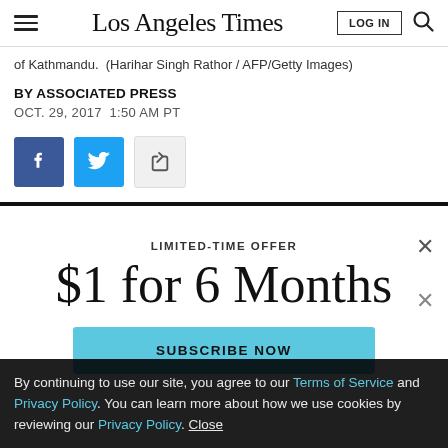Los Angeles Times
of Kathmandu.  (Harihar Singh Rathor / AFP/Getty Images)
BY ASSOCIATED PRESS
OCT. 29, 2017 1:50 AM PT
[Figure (other): Social share buttons: Facebook, Twitter, and generic share icon]
LIMITED-TIME OFFER
$1 for 6 Months
SUBSCRIBE NOW
By continuing to use our site, you agree to our Terms of Service and Privacy Policy. You can learn more about how we use cookies by reviewing our Privacy Policy. Close